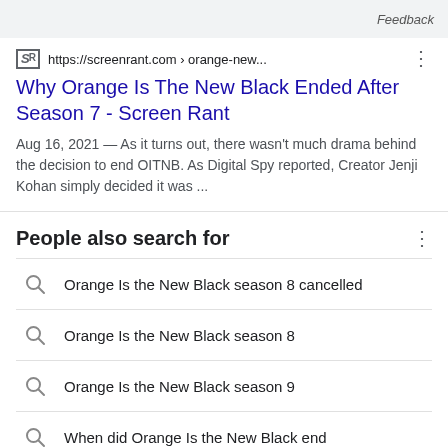Feedback
https://screenrant.com › orange-new...
Why Orange Is The New Black Ended After Season 7 - Screen Rant
Aug 16, 2021 — As it turns out, there wasn't much drama behind the decision to end OITNB. As Digital Spy reported, Creator Jenji Kohan simply decided it was ...
People also search for
Orange Is the New Black season 8 cancelled
Orange Is the New Black season 8
Orange Is the New Black season 9
When did Orange Is the New Black end